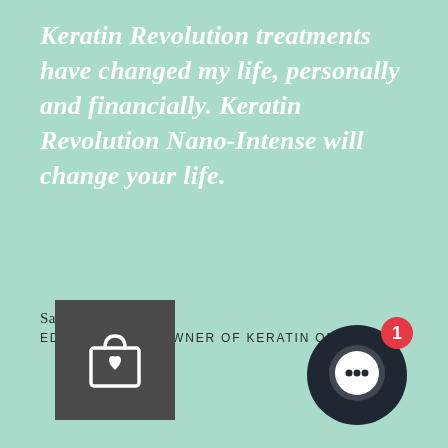Keratin Revolution treatments have changed my life, personally and financially. Keratin Revolution Nano-Intense will change your life.
Samantha Holland
EDUCATOR AND OWNER OF KERATIN ONE
[Figure (illustration): Shopping bag with heart icon on dark grey square background]
[Figure (illustration): Dark circular chat/messenger icon with red notification badge showing number 1]